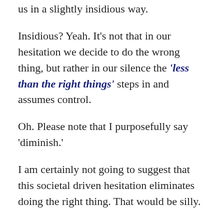us in a slightly insidious way.
Insidious? Yeah. It's not that in our hesitation we decide to do the wrong thing, but rather in our silence the 'less than the right things' steps in and assumes control.
Oh. Please note that I purposefully say 'diminish.'
I am certainly not going to suggest that this societal driven hesitation eliminates doing the right thing. That would be silly.